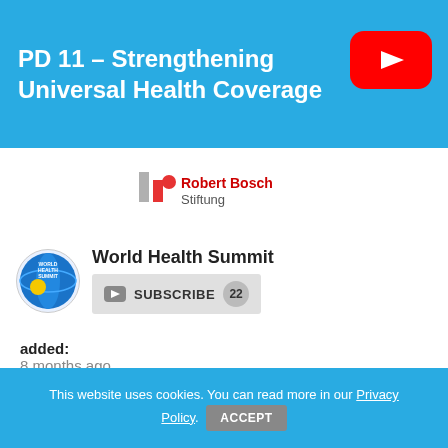PD 11 – Strengthening Universal Health Coverage
[Figure (screenshot): YouTube play button overlay on blue banner]
[Figure (logo): Robert Bosch Stiftung logo]
World Health Summit
SUBSCRIBE 22
added:
8 months ago
views:
511
specialty:
Global Health
This website uses cookies. You can read more in our Privacy Policy. ACCEPT